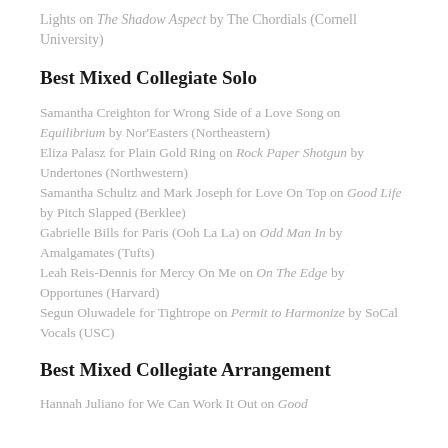Lights on The Shadow Aspect by The Chordials (Cornell University)
Best Mixed Collegiate Solo
Samantha Creighton for Wrong Side of a Love Song on Equilibrium by Nor'Easters (Northeastern) Eliza Palasz for Plain Gold Ring on Rock Paper Shotgun by Undertones (Northwestern) Samantha Schultz and Mark Joseph for Love On Top on Good Life by Pitch Slapped (Berklee) Gabrielle Bills for Paris (Ooh La La) on Odd Man In by Amalgamates (Tufts) Leah Reis-Dennis for Mercy On Me on On The Edge by Opportunes (Harvard) Segun Oluwadele for Tightrope on Permit to Harmonize by SoCal Vocals (USC)
Best Mixed Collegiate Arrangement
Hannah Juliano for We Can Work It Out on Good